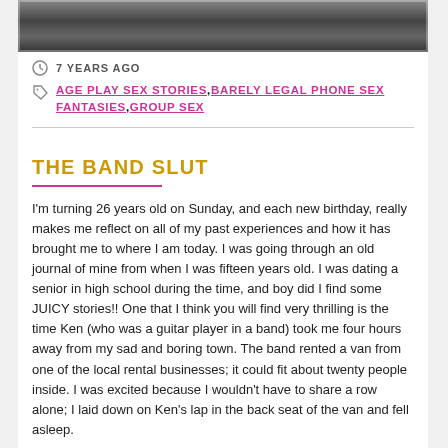[Figure (photo): Dark grayscale photo strip at top of page]
7 YEARS AGO
AGE PLAY SEX STORIES,BARELY LEGAL PHONE SEX FANTASIES,GROUP SEX
THE BAND SLUT
I'm turning 26 years old on Sunday, and each new birthday, really makes me reflect on all of my past experiences and how it has brought me to where I am today. I was going through an old journal of mine from when I was fifteen years old. I was dating a senior in high school during the time, and boy did I find some JUICY stories!! One that I think you will find very thrilling is the time Ken (who was a guitar player in a band) took me four hours away from my sad and boring town. The band rented a van from one of the local rental businesses; it could fit about twenty people inside. I was excited because I wouldn't have to share a row alone; I laid down on Ken's lap in the back seat of the van and fell asleep.
I remember feeling moist while resting, then feeling a deep